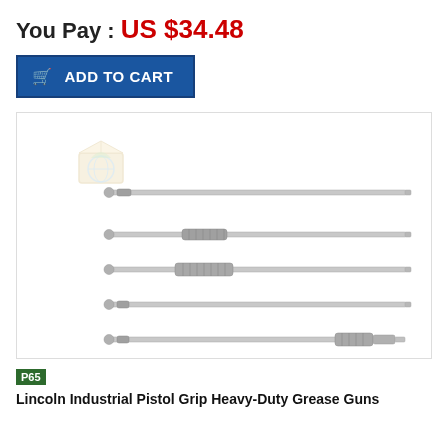You Pay : US $34.48
ADD TO CART
[Figure (photo): Five metal rods/extensions for pistol grip grease guns, varying in configuration — knurled grips at different positions, with a watermark of a box with globe in the upper left area of the image box.]
P65
Lincoln Industrial Pistol Grip Heavy-Duty Grease Guns